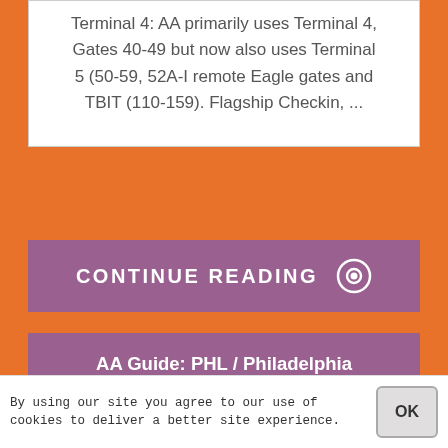Terminal 4: AA primarily uses Terminal 4, Gates 40-49 but now also uses Terminal 5 (50-59, 52A-I remote Eagle gates and TBIT (110-159). Flagship Checkin, ...
CONTINUE READING
AA Guide: PHL / Philadelphia International Airport - MCT ... - FlyerTalk
American Airlines | AAdvantage - AA Guide: PHL / Philadelphia International ... Note: The baggage claim for terminal F has relocated to its own building on the ...
By using our site you agree to our use of cookies to deliver a better site experience.